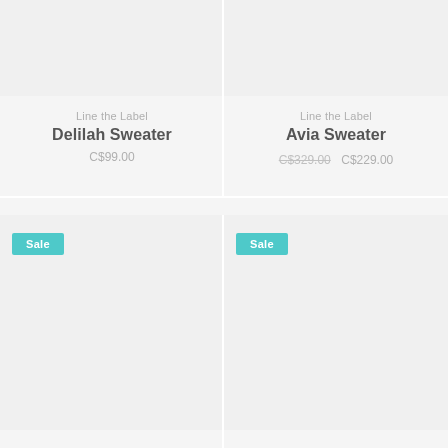[Figure (photo): Product image placeholder for Delilah Sweater, light gray background]
Line the Label
Delilah Sweater
C$99.00
[Figure (photo): Product image placeholder for Avia Sweater, light gray background]
Line the Label
Avia Sweater
C$329.00  C$229.00
[Figure (photo): Sale product image placeholder, light gray background with Sale badge]
[Figure (photo): Sale product image placeholder, light gray background with Sale badge]